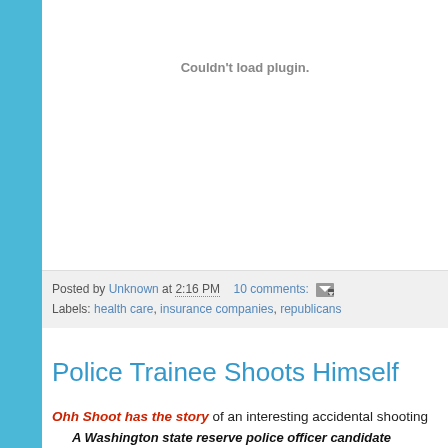[Figure (other): Plugin area showing 'Couldn't load plugin.' error message in gray text on white background]
Posted by Unknown at 2:16 PM   10 comments:
Labels: health care, insurance companies, republicans
Police Trainee Shoots Himself
Ohh Shoot has the story of an interesting accidental shooting
A Washington state reserve police officer candidate